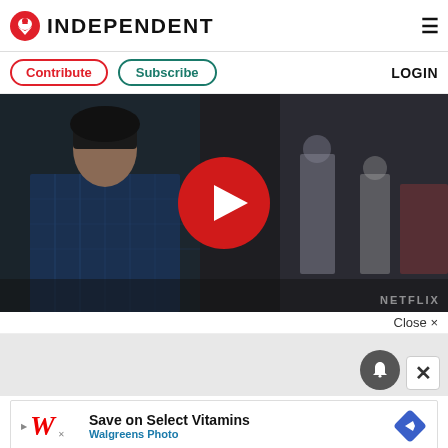[Figure (logo): The Independent newspaper logo with red eagle icon and bold INDEPENDENT text]
≡
Contribute
Subscribe
LOGIN
[Figure (screenshot): Video player thumbnail showing a dark-haired teenage boy in a plaid shirt with a large red play button circle in the center, and people blurred in background. Netflix watermark in bottom right.]
Close ×
[Figure (other): Gray notification area with dark bell icon button and white X close button]
[Figure (other): Walgreens advertisement: Save on Select Vitamins - Walgreens Photo with Walgreens logo and blue diamond navigation icon]